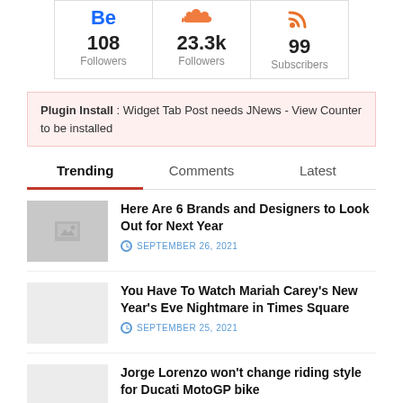[Figure (infographic): Social media follower counts: Behance 108 Followers, SoundCloud 23.3k Followers, RSS 99 Subscribers]
Plugin Install : Widget Tab Post needs JNews - View Counter to be installed
Trending | Comments | Latest
Here Are 6 Brands and Designers to Look Out for Next Year — SEPTEMBER 26, 2021
You Have To Watch Mariah Carey's New Year's Eve Nightmare in Times Square — SEPTEMBER 25, 2021
Jorge Lorenzo won't change riding style for Ducati MotoGP bike — SEPTEMBER 30, 2021